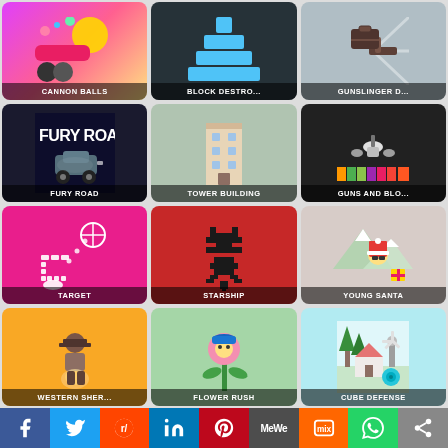[Figure (screenshot): Game tile grid showing 12 games: Cannon Balls, Block Destroyer, Gunslinger D..., Fury Road, Tower Building, Guns and Blo..., Target, Starship, Young Santa, Western Sher..., Flower Rush, Cube Defense]
CANNON BALLS
BLOCK DESTRO...
GUNSLINGER D...
FURY ROAD
TOWER BUILDING
GUNS AND BLO...
TARGET
STARSHIP
YOUNG SANTA
WESTERN SHER...
FLOWER RUSH
CUBE DEFENSE
[Figure (infographic): Social sharing bar with icons: Facebook, Twitter, Reddit, LinkedIn, Pinterest, MeWe, Mix, WhatsApp, Share]